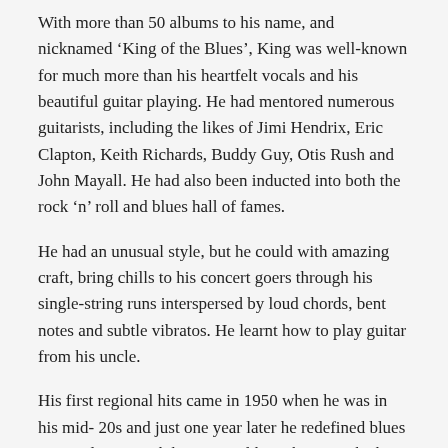With more than 50 albums to his name, and nicknamed 'King of the Blues', King was well-known for much more than his heartfelt vocals and his beautiful guitar playing. He had mentored numerous guitarists, including the likes of Jimi Hendrix, Eric Clapton, Keith Richards, Buddy Guy, Otis Rush and John Mayall. He had also been inducted into both the rock 'n' roll and blues hall of fames.
He had an unusual style, but he could with amazing craft, bring chills to his concert goers through his single-string runs interspersed by loud chords, bent notes and subtle vibratos. He learnt how to play guitar from his uncle.
His first regional hits came in 1950 when he was in his mid-20s and just one year later he redefined blues guitar playing with his national hit, Three O'Clock Blues. His successes flourished from here.
With a career spanning an inspirational seven decades, the